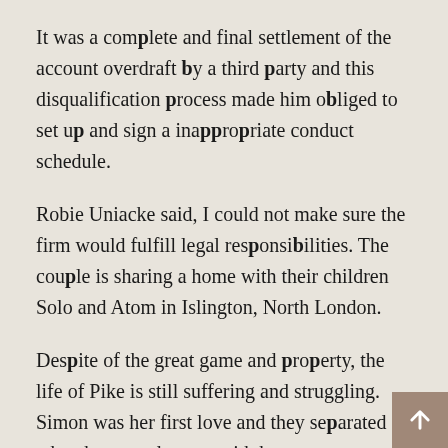It was a complete and final settlement of the account overdraft by a third party and this disqualification process made him obliged to set up and sign a inappropriate conduct schedule.
Robie Uniacke said, I could not make sure the firm would fulfill legal responsibilities. The couple is sharing a home with their children Solo and Atom in Islington, North London.
Despite of the great game and property, the life of Pike is still suffering and struggling. Simon was her first love and they separated when he started to sex with her.
Then she engaged with the director Joe Wright and he surprised her by sending a ‘save the date’ card. In this way their relationship was ended. Her firs